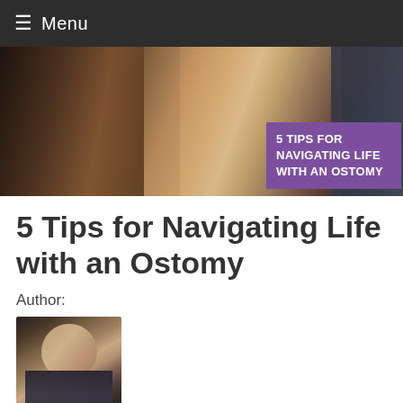≡ Menu
[Figure (photo): Hero image of a man and woman walking outdoors with sunlight behind them, overlaid with a purple box reading '5 TIPS FOR NAVIGATING LIFE WITH AN OSTOMY']
5 Tips for Navigating Life with an Ostomy
Author:
[Figure (photo): Headshot of a woman smiling, wearing a dark top, standing in what appears to be a kitchen or indoor setting]
Katelyn Wilson, RD